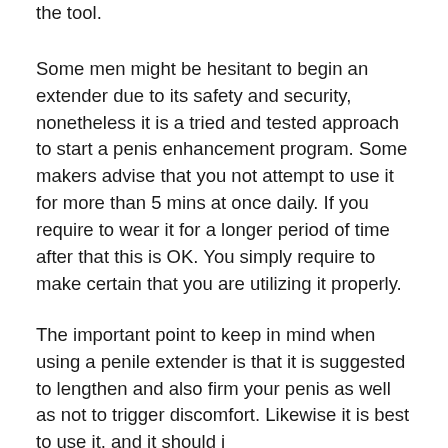the tool.
Some men might be hesitant to begin an extender due to its safety and security, nonetheless it is a tried and tested approach to start a penis enhancement program. Some makers advise that you not attempt to use it for more than 5 mins at once daily. If you require to wear it for a longer period of time after that this is OK. You simply require to make certain that you are utilizing it properly.
The important point to keep in mind when using a penile extender is that it is suggested to lengthen and also firm your penis as well as not to trigger discomfort. Likewise it is best to use it, and it should i